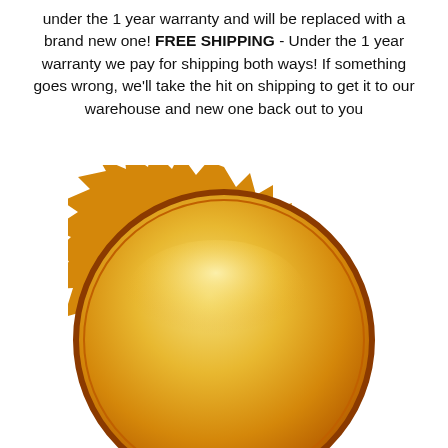under the 1 year warranty and will be replaced with a brand new one! FREE SHIPPING - Under the 1 year warranty we pay for shipping both ways! If something goes wrong, we'll take the hit on shipping to get it to our warehouse and new one back out to you
[Figure (illustration): A golden/orange warranty seal badge with a jagged sunburst edge and a glossy oval highlight, partially cropped at the bottom of the page.]